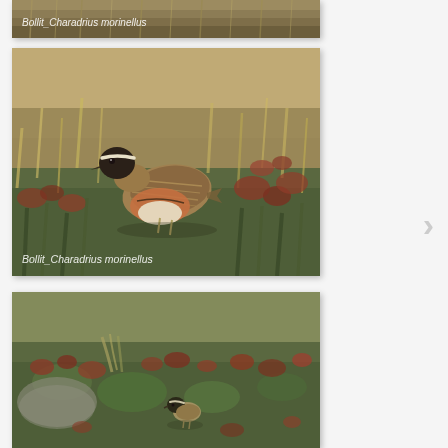[Figure (photo): Partial top of a Dotterel (Charadrius morinellus) photo showing grass/moorland background with white italic label text 'Bollit_Charadrius morinellus']
[Figure (photo): Dotterel (Charadrius morinellus) bird standing in moorland grass and heather with reddish-brown plants. Bird faces left showing distinctive white eye stripe, dark cap, brown/rufous plumage. Label 'Bollit_Charadrius morinellus' at bottom left.]
[Figure (photo): Dotterel chick (Charadrius morinellus) in moorland vegetation with green moss, reddish heather and grasses. Small speckled chick visible near center-bottom of frame.]